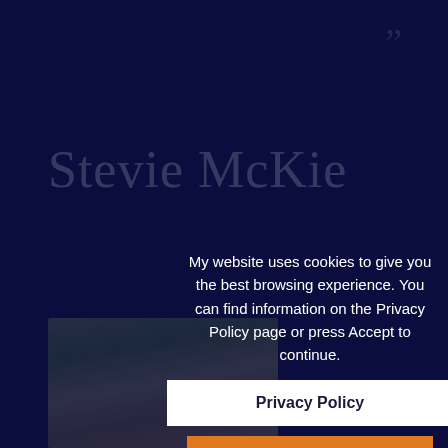[Figure (other): Decorative closing double quotation marks in gray at top right corner]
Stevie McKie
Privacy Policy
[Figure (photo): Partial outdoor photo visible at bottom left, showing green and tan natural tones]
My website uses cookies to give you the best browsing experience. You can find information on the Privacy Policy page or press Accept to continue.
Privacy Policy
Accept